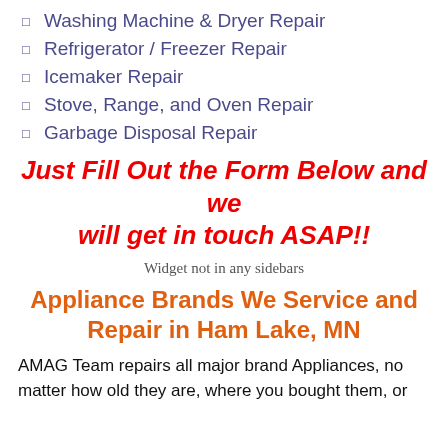Washing Machine & Dryer Repair
Refrigerator / Freezer Repair
Icemaker Repair
Stove, Range, and Oven Repair
Garbage Disposal Repair
Just Fill Out the Form Below and we will get in touch ASAP!!
Widget not in any sidebars
Appliance Brands We Service and Repair in Ham Lake, MN
AMAG Team repairs all major brand Appliances, no matter how old they are, where you bought them, or